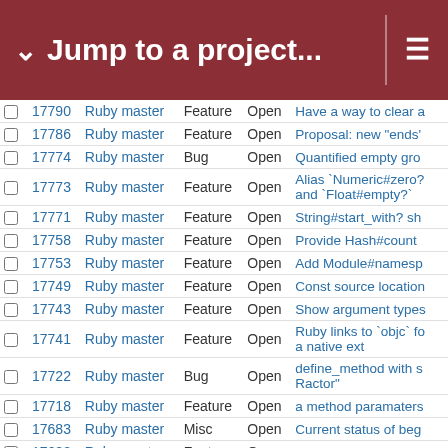Jump to a project...
|  | # | Project | Type | Status | Subject |
| --- | --- | --- | --- | --- | --- |
|  | 17790 | Ruby master | Feature | Open | Have a way to clear a |
|  | 17786 | Ruby master | Feature | Open | Proposal: new "ends" |
|  | 17774 | Ruby master | Bug | Open | Quantified empty gro |
|  | 17773 | Ruby master | Feature | Open | Alias `Numeric#zero? and `Float#empty?` |
|  | 17771 | Ruby master | Feature | Open | String#start_with? sh |
|  | 17758 | Ruby master | Feature | Open | Provide Hash#count |
|  | 17753 | Ruby master | Feature | Open | Add Module#namesp |
|  | 17749 | Ruby master | Feature | Open | Const source location |
|  | 17743 | Ruby master | Feature | Open | Show argument types |
|  | 17741 | Ruby master | Feature | Open | Ruby links to `objc` fo a native ext |
|  | 17722 | Ruby master | Bug | Open | define_method with s Ractor" |
|  | 17718 | Ruby master | Feature | Open | a method paramaters |
|  | 17683 | Ruby master | Misc | Open | Current status of beg |
|  | 17682 | Ruby master | Feature | Open | String#casecmp perf |
|  | 17680 | Ruby master | Bug | Open | tab completion no lon |
|  | 17663 | Ruby master | Feature | Open | Enumerator#with, an |
|  | 17660 | Ruby master | Feature | Open | Expose information a redefined |